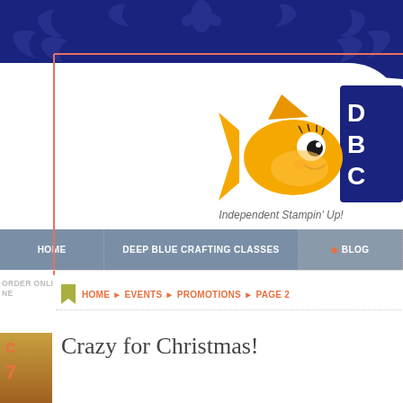[Figure (screenshot): Dark navy blue decorative header banner with swirling floral/scroll patterns in a slightly lighter blue tone]
[Figure (logo): Yellow cartoon fish mascot logo with big eyes, with partial blue text block to the right reading D, B, C (Deep Blue Crafting)]
Independent Stampin' Up!
HOME | DEEP BLUE CRAFTING CLASSES | BLOG
ORDER ONLINE
HOME ▶ EVENTS ▶ PROMOTIONS ▶ PAGE 2
Crazy for Christmas!